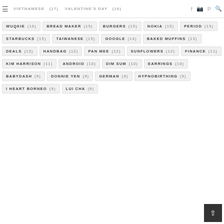VIETNAMESE (17) VALENTINE'S DAY (16)
WUQKIE (16)
BREAD MAKER (15)
BURGERS (15)
NOKIA (15)
PERIOD (15)
STARBUCKS (15)
TAIWANESE (15)
GOOGLE (14)
BAKED MUFFINS (13)
DEALS (13)
HANDBAG (12)
PAN MEE (12)
SUNFLOWERS (12)
FINANCE (11)
KIM HARRISON (11)
ANDROID (10)
DIM SUM (10)
EARRINGS (10)
BABYDASH (9)
DONNIE YEN (9)
GERMAN (9)
HYPNOBIRTHING (9)
I HEART BORNEO (9)
LUI CHA (9)